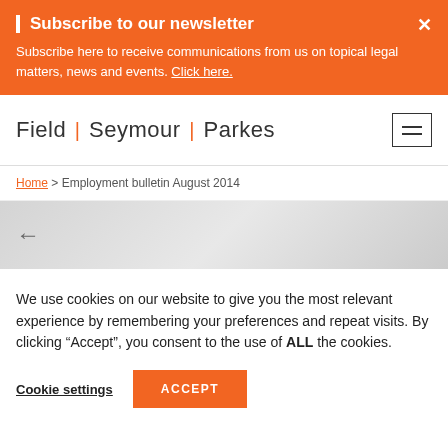Subscribe to our newsletter
Subscribe here to receive communications from us on topical legal matters, news and events. Click here.
[Figure (logo): Field | Seymour | Parkes law firm logo with hamburger menu icon]
Home > Employment bulletin August 2014
[Figure (illustration): Grey gradient hero area with a left-pointing back arrow]
We use cookies on our website to give you the most relevant experience by remembering your preferences and repeat visits. By clicking "Accept", you consent to the use of ALL the cookies.
Cookie settings   ACCEPT